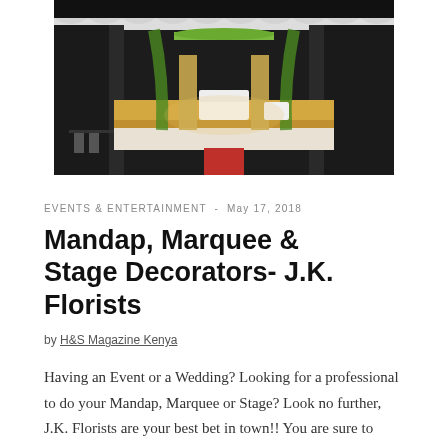[Figure (photo): Wedding mandap and stage decoration with black drapes, green floral accents, white fabric, and ornate pillars in a banquet hall setting]
EVENTS & ENTERTAINMENT  -  May 17, 2018
Mandap, Marquee & Stage Decorators- J.K. Florists
by H&S Magazine Kenya
Having an Event or a Wedding? Looking for a professional to do your Mandap, Marquee or Stage? Look no further, J.K. Florists are your best bet in town!! You are sure to have that